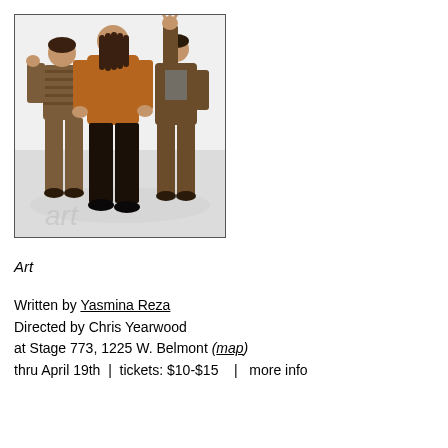[Figure (photo): Three people seen from behind standing and gesturing toward a white wall/surface. The leftmost person wears a brown striped sweater and brown pants, the middle person wears a brown jacket and dark pants, and the rightmost person wears a brown jacket with one arm raised. They appear to be looking at art on a white wall.]
Art
Written by Yasmina Reza
Directed by Chris Yearwood
at Stage 773, 1225 W. Belmont (map)
thru April 19th  |  tickets: $10-$15   |  more info